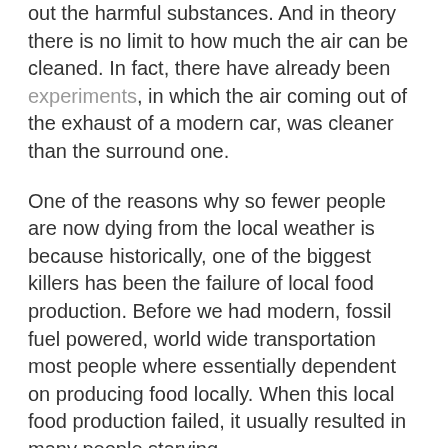out the harmful substances. And in theory there is no limit to how much the air can be cleaned. In fact, there have already been experiments, in which the air coming out of the exhaust of a modern car, was cleaner than the surround one.
One of the reasons why so fewer people are now dying from the local weather is because historically, one of the biggest killers has been the failure of local food production. Before we had modern, fossil fuel powered, world wide transportation most people where essentially dependent on producing food locally. When this local food production failed, it usually resulted in many people starving.
Thanks to modern global transportation networks, which are almost exclusively powered by fossil fuels, we now have a very effective global food market.